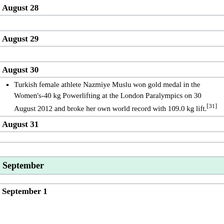August 28
August 29
August 30
Turkish female athlete Nazmiye Muslu won gold medal in the Women's-40 kg Powerlifting at the London Paralympics on 30 August 2012 and broke her own world record with 109.0 kg lift.[31]
August 31
September
September 1